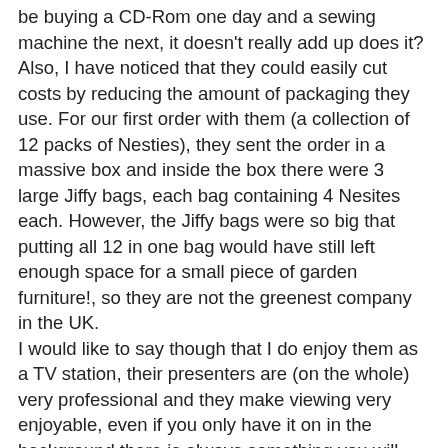be buying a CD-Rom one day and a sewing machine the next, it doesn't really add up does it? Also, I have noticed that they could easily cut costs by reducing the amount of packaging they use. For our first order with them (a collection of 12 packs of Nesties), they sent the order in a massive box and inside the box there were 3 large Jiffy bags, each bag containing 4 Nesites each. However, the Jiffy bags were so big that putting all 12 in one bag would have still left enough space for a small piece of garden furniture!, so they are not the greenest company in the UK.
I would like to say though that I do enjoy them as a TV station, their presenters are (on the whole) very professional and they make viewing very enjoyable, even if you only have it on in the background there is always something you will want to watch. They have some great deals, especially when they have Flexi-Pay offers which allow you to pay over a few months (with no credit checks!) and they are ALWAYS open, which is a major draw for an on-line shopaholic like me.
On to this weeks card and the theme at I ♥ ProMarkers is Fairies. When I first read that it was coming up, I went into a major tail-spin. Fairies! I'm a boy! I can't do fairies; for one thing, I've never seen a fairy image I like, yet alone one I